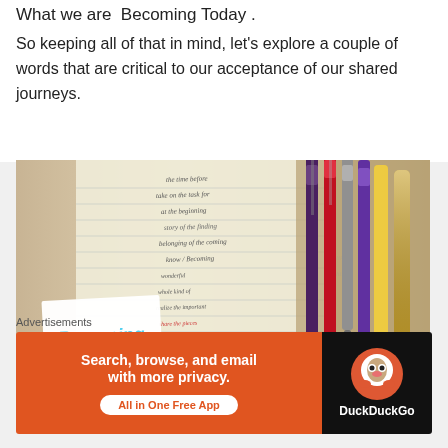What we are  Becoming Today .
So keeping all of that in mind, let's explore a couple of words that are critical to our acceptance of our shared journeys.
[Figure (photo): Photo of an open notebook with handwritten notes and colorful pens, overlaid with a white card showing 'Becoming Today' logo in pink and blue script, and cursive text reading 'Grace isn't a little' and 'you chant']
Advertisements
[Figure (infographic): DuckDuckGo advertisement banner: 'Search, browse, and email with more privacy. All in One Free App' with DuckDuckGo logo on dark background]